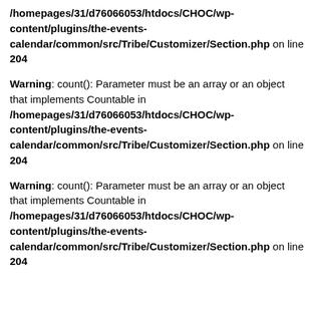/homepages/31/d76066053/htdocs/CHOC/wp-content/plugins/the-events-calendar/common/src/Tribe/Customizer/Section.php on line 204
Warning: count(): Parameter must be an array or an object that implements Countable in /homepages/31/d76066053/htdocs/CHOC/wp-content/plugins/the-events-calendar/common/src/Tribe/Customizer/Section.php on line 204
Warning: count(): Parameter must be an array or an object that implements Countable in /homepages/31/d76066053/htdocs/CHOC/wp-content/plugins/the-events-calendar/common/src/Tribe/Customizer/Section.php on line 204